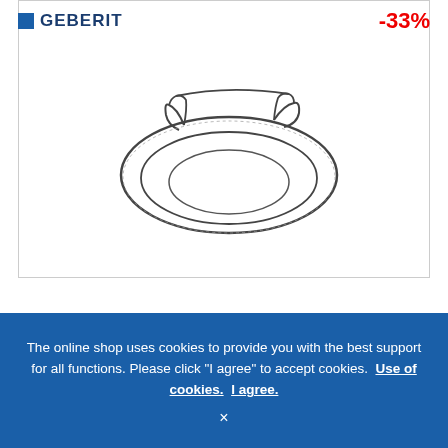[Figure (logo): Geberit brand logo with blue square and bold text, positioned top center]
-33%
[Figure (illustration): Line drawing of a Geberit AquaClean toilet seat, viewed from above at an angle, showing the oval seat shape with mounting hardware]
Geberit AquaClean - 5000 / 5000plus Toilet Seat
SEK 2,001.17*
SEK 1,331.90
The online shop uses cookies to provide you with the best support for all functions. Please click "I agree" to accept cookies. Use of cookies. I agree.